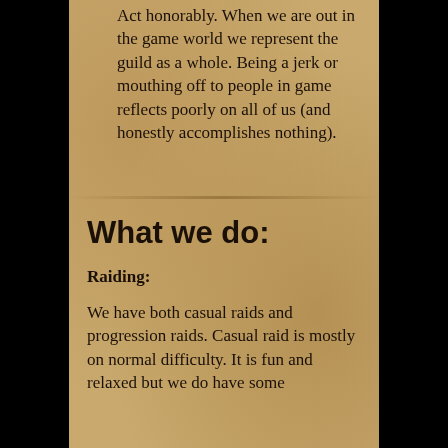3. Act honorably. When we are out in the game world we represent the guild as a whole. Being a jerk or mouthing off to people in game reflects poorly on all of us (and honestly accomplishes nothing).
What we do:
Raiding:
We have both casual raids and progression raids. Casual raid is mostly on normal difficulty. It is fun and relaxed but we do have some